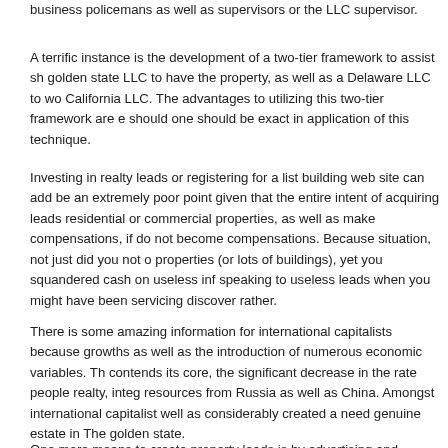business policemans as well as supervisors or the LLC supervisor.
A terrific instance is the development of a two-tier framework to assist sh golden state LLC to have the property, as well as a Delaware LLC to wo California LLC. The advantages to utilizing this two-tier framework are e should one should be exact in application of this technique.
Investing in realty leads or registering for a list building web site can add be an extremely poor point given that the entire intent of acquiring leads residential or commercial properties, as well as make compensations, if do not become compensations. Because situation, not just did you not o properties (or lots of buildings), yet you squandered cash on useless inf speaking to useless leads when you might have been servicing discover rather.
There is some amazing information for international capitalists because growths as well as the introduction of numerous economic variables. Th contends its core, the significant decrease in the rate people realty, integ resources from Russia as well as China. Amongst international capitalist well as considerably created a need genuine estate in The golden state.
One more means to create property leads is by advertising and marketin might be an excellent means to produce genuine estate leads if you are representative, organization, or broker individual. This kind of list buildin